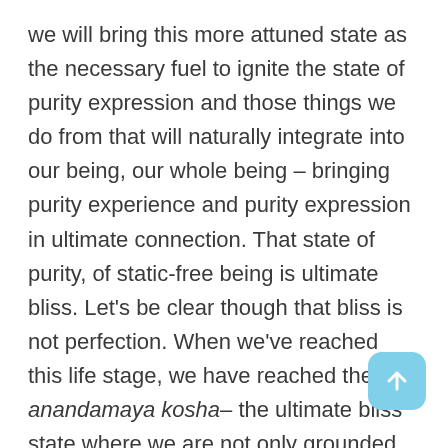we will bring this more attuned state as the necessary fuel to ignite the state of purity expression and those things we do from that will naturally integrate into our being, our whole being – bringing purity experience and purity expression in ultimate connection. That state of purity, of static-free being is ultimate bliss. Let's be clear though that bliss is not perfection. When we've reached this life stage, we have reached the anandamaya kosha– the ultimate bliss state where we are not only grounded, but connected and in the ultimate flow of life. It's the integration of
[Figure (other): Light blue rounded square scroll-up button with white upward arrow icon, positioned bottom-right]